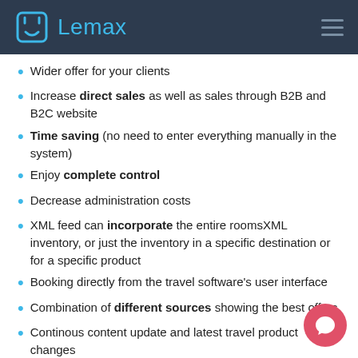Lemax
Wider offer for your clients
Increase direct sales as well as sales through B2B and B2C website
Time saving (no need to enter everything manually in the system)
Enjoy complete control
Decrease administration costs
XML feed can incorporate the entire roomsXML inventory, or just the inventory in a specific destination or for a specific product
Booking directly from the travel software's user interface
Combination of different sources showing the best offers
Continous content update and latest travel product changes